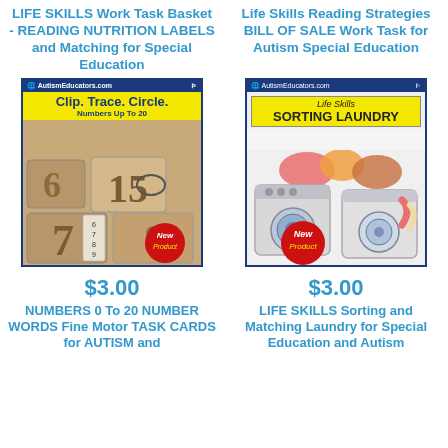LIFE SKILLS Work Task Basket - READING NUTRITION LABELS and Matching for Special Education
Life Skills Reading Strategies BILL OF SALE Work Task for Autism Special Education
[Figure (illustration): Product cover: Clip. Trace. Circle. Numbers Up To 20 - shows sand number cards with New Product badge]
[Figure (illustration): Product cover: Life Skills Sorting Laundry - shows washing machine and dryer with clothes, New Product badge]
$3.00
$3.00
NUMBERS 0 To 20 NUMBER WORDS Fine Motor TASK CARDS for AUTISM and
LIFE SKILLS Sorting and Matching Laundry for Special Education and Autism